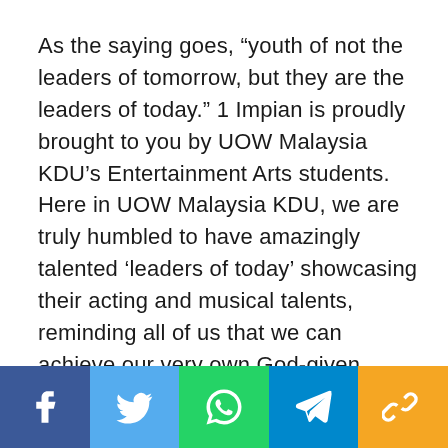As the saying goes, “youth of not the leaders of tomorrow, but they are the leaders of today.” 1 Impian is proudly brought to you by UOW Malaysia KDU’s Entertainment Arts students. Here in UOW Malaysia KDU, we are truly humbled to have amazingly talented ‘leaders of today’ showcasing their acting and musical talents, reminding all of us that we can achieve our very own God-given dreams.
[Figure (infographic): Social media share bar with five buttons: Facebook (dark blue), Twitter (light blue), WhatsApp (green), Telegram (blue), and a link/copy icon (gold/yellow).]